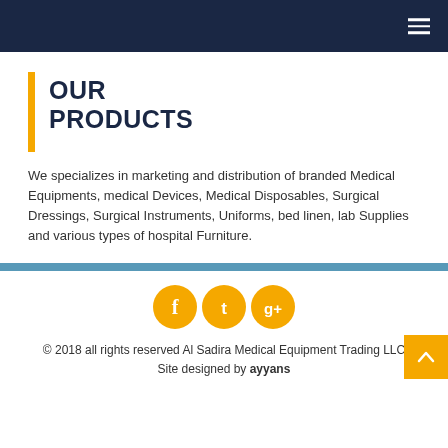OUR PRODUCTS
We specializes in marketing and distribution of branded Medical Equipments, medical Devices, Medical Disposables, Surgical Dressings, Surgical Instruments, Uniforms, bed linen, lab Supplies and various types of hospital Furniture.
[Figure (illustration): Three circular social media icons (Facebook, Twitter, Google+) in golden/amber color]
© 2018 all rights reserved Al Sadira Medical Equipment Trading LLC
Site designed by ayyans